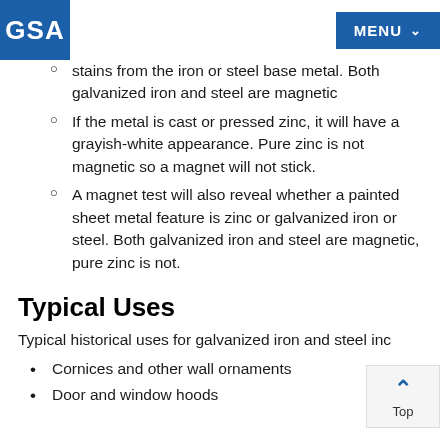GSA | MENU
stains from the iron or steel base metal. Both galvanized iron and steel are magnetic
If the metal is cast or pressed zinc, it will have a grayish-white appearance. Pure zinc is not magnetic so a magnet will not stick.
A magnet test will also reveal whether a painted sheet metal feature is zinc or galvanized iron or steel. Both galvanized iron and steel are magnetic, pure zinc is not.
Typical Uses
Typical historical uses for galvanized iron and steel inc...
Cornices and other wall ornaments
Door and window hoods